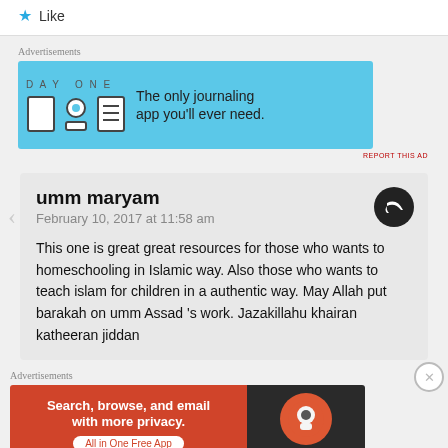closer look on this blog masnid Allah.
★ Like
Advertisements
[Figure (illustration): Day One app advertisement banner. Blue background with DAY ONE logo, three app icon illustrations, and text 'The only journaling app you'll ever need.']
REPORT THIS AD
umm maryam
February 10, 2017 at 11:58 am
This one is great great resources for those who wants to homeschooling in Islamic way. Also those who wants to teach islam for children in a authentic way. May Allah put barakah on umm Assad 's work. Jazakillahu khairan katheeran jiddan
Advertisements
[Figure (illustration): DuckDuckGo advertisement. Left side red/orange background with text 'Search, browse, and email with more privacy. All in One Free App'. Right side dark background with DuckDuckGo logo.]
REPORT THIS AD